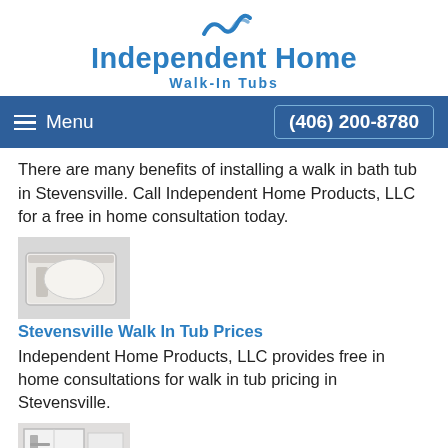[Figure (logo): Independent Home Walk-In Tubs logo with wave icon and blue text]
Menu | (406) 200-8780
There are many benefits of installing a walk in bath tub in Stevensville. Call Independent Home Products, LLC for a free in home consultation today.
[Figure (photo): Photo of a white walk-in bathtub]
Stevensville Walk In Tub Prices
Independent Home Products, LLC provides free in home consultations for walk in tub pricing in Stevensville.
[Figure (photo): Photo of a walk-in shower with fixtures]
Stevensville Walk in Showers